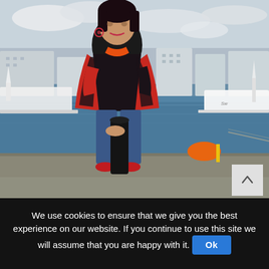[Figure (photo): A woman with dark hair wearing a red and black patterned coat and blue jeans, sitting on a bollard at a marina/harbour. Boats and modern city buildings are visible in the background, under a cloudy sky.]
We use cookies to ensure that we give you the best experience on our website. If you continue to use this site we will assume that you are happy with it. Ok